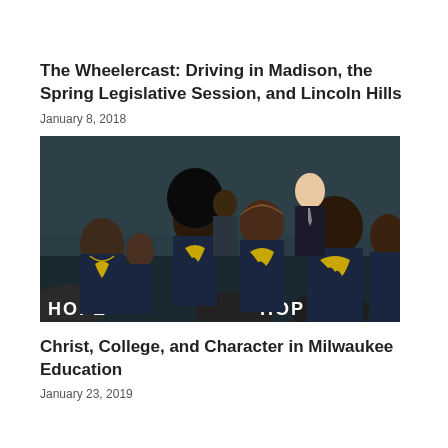The Wheelercast: Driving in Madison, the Spring Legislative Session, and Lincoln Hills
January 8, 2018
[Figure (photo): A group of young Black students seated together wearing matching dark navy t-shirts with a gold eagle/bird logo design. Chairs in the foreground read 'HOPE'. A man in a suit stands in the background. Setting appears to be a gymnasium with teal/dark walls.]
Christ, College, and Character in Milwaukee Education
January 23, 2019